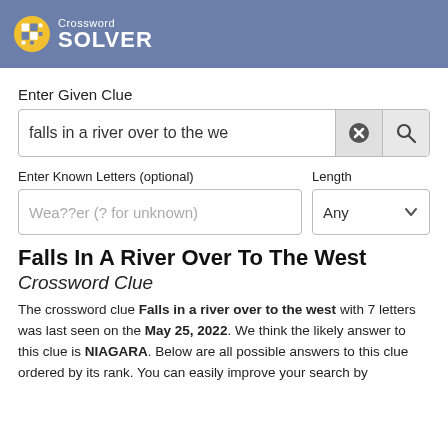Crossword SOLVER
Enter Given Clue
falls in a river over to the we
Enter Known Letters (optional)
Length
Wea??er (? for unknown)
Any
Falls In A River Over To The West Crossword Clue
The crossword clue Falls in a river over to the west with 7 letters was last seen on the May 25, 2022. We think the likely answer to this clue is NIAGARA. Below are all possible answers to this clue ordered by its rank. You can easily improve your search by